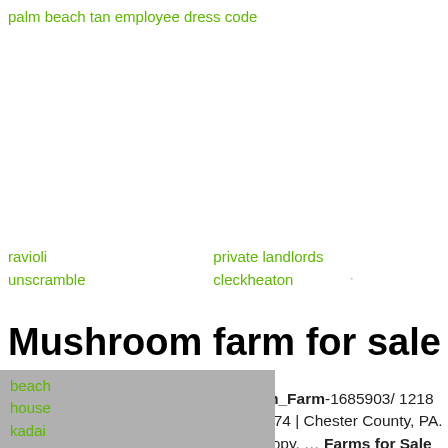palm beach tan employee dress code
ravioli   private landlords
unscramble   cleckheaton
Mushroom farm for sale
Mushroom Farm /property/Mushroom_Farm-1685903/ 1218 Newark Road, Toughkenamon, PA 19374 | Chester County, PA. $1,500,000. 5.7 acres. Save; Share; Copy. ... Farms for Sale in Missouri; Farms for Sale in Tennessee; Hunting Land for Sale in MN; Acreage for Sale in Texas;
beach
house
kadai